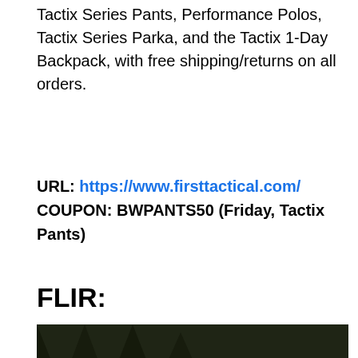Tactix Series Pants, Performance Polos, Tactix Series Parka, and the Tactix 1-Day Backpack, with free shipping/returns on all orders.
URL: https://www.firsttactical.com/
COUPON: BWPANTS50 (Friday, Tactix Pants)
FLIR:
[Figure (screenshot): Video player screenshot showing two people in camouflage gear in a dark forest setting, with an embedded video error overlay reading 'FAST DRILL: CAP...' and 'Uh oh, something went wrong' with playback controls showing 0:00 timestamp. A close button (X) is visible in the upper right of the overlay.]